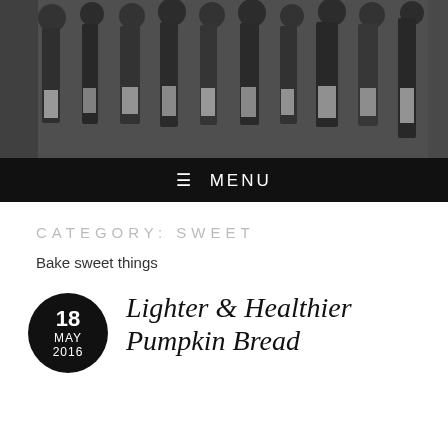[Figure (photo): Black and white photograph of many wine bottles arranged on shelves/rack, viewed from the front]
≡ MENU
CATEGORY: SWEET
Bake sweet things
Lighter & Healthier Pumpkin Bread
18 MAY 2016